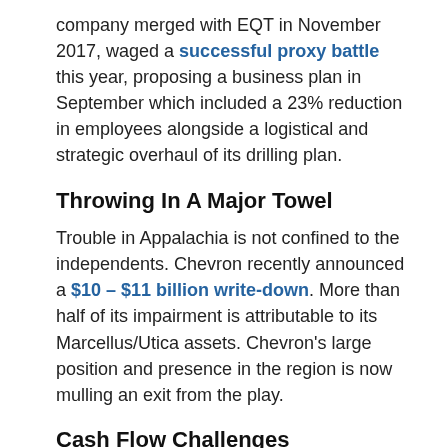company merged with EQT in November 2017, waged a successful proxy battle this year, proposing a business plan in September which included a 23% reduction in employees alongside a logistical and strategic overhaul of its drilling plan.
Throwing In A Major Towel
Trouble in Appalachia is not confined to the independents. Chevron recently announced a $10 – $11 billion write-down. More than half of its impairment is attributable to its Marcellus/Utica assets. Chevron's large position and presence in the region is now mulling an exit from the play.
Cash Flow Challenges
Due in part to the lack of available capital, early projections show capex reductions of 23% in 2020.